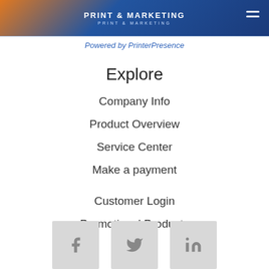PRINT & MARKETING — Powered by PrinterPresence
Explore
Company Info
Product Overview
Service Center
Make a payment
Customer Login
Promotional Products
[Figure (logo): Three social media icons: Facebook (f), Twitter (bird), LinkedIn (in) displayed as grey square buttons]